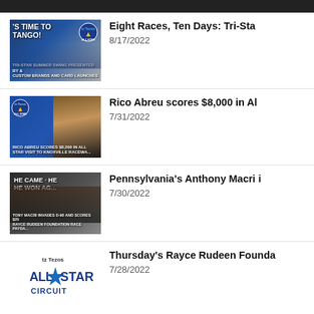Eight Races, Ten Days: Tri-Sta | 8/17/2022
Rico Abreu scores $8,000 in Al | 7/31/2022
Pennsylvania's Anthony Macri i | 7/30/2022
Thursday's Rayce Rudeen Founda | 7/28/2022
Follow All Star Sprints on the
MyRacePass App